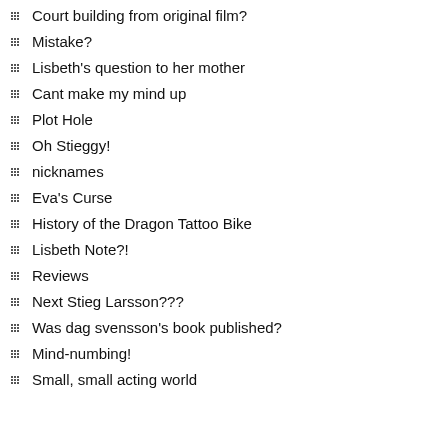Court building from original film?
Mistake?
Lisbeth's question to her mother
Cant make my mind up
Plot Hole
Oh Stieggy!
nicknames
Eva's Curse
History of the Dragon Tattoo Bike
Lisbeth Note?!
Reviews
Next Stieg Larsson???
Was dag svensson's book published?
Mind-numbing!
Small, small acting world